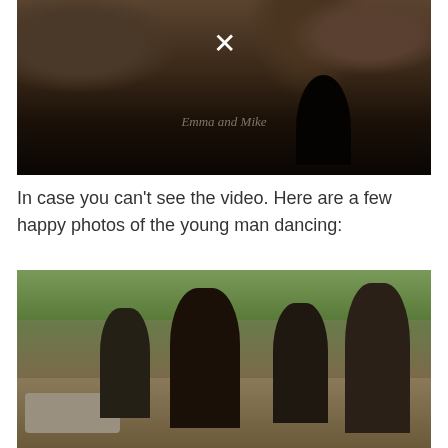[Figure (screenshot): Dark video thumbnail showing a village scene with people in the background, a white X close button at the top center, and the text 'Emma and Mike' overlaid in faded italic text]
In case you can't see the video. Here are a few happy photos of the young man dancing:
[Figure (photo): Photo of several young children/boys standing outdoors in what appears to be an African village setting, with green foliage in background and sandy/dirt ground. The main subject is a boy in a white shirt facing the camera.]